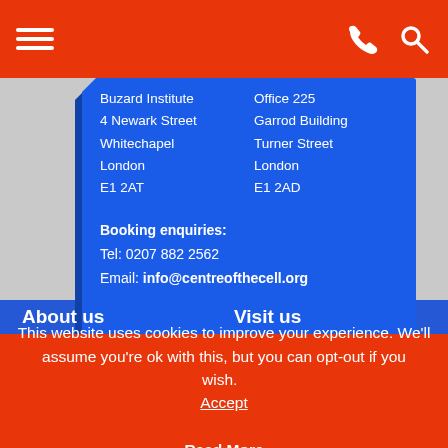Navigation bar with hamburger menu, phone icon, search icon
Buzard Institute
4 Newark Street
Whitechapel
London
E1 2AT
Office 225
Garrod Building
Turner Street
London
E1 2AD
Booking enquiries:
Tel: 0207 882 2562
Email: info@centreofthecell.org
About us
Visit us
Centre of the Cell is a science education centre based at Queen
Contact us
Opening hours & admission
This website uses cookies to improve your experience. We'll assume you're ok with this, but you can opt-out if you wish. Accept  Read More